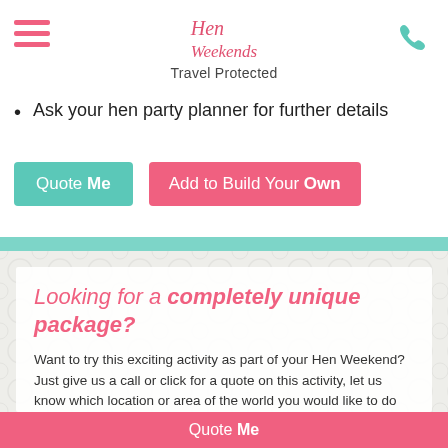Hen Weekends — Travel Protected
Ask your hen party planner for further details
Quote Me | Add to Build Your Own
Looking for a completely unique package?
Want to try this exciting activity as part of your Hen Weekend? Just give us a call or click for a quote on this activity, let us know which location or area of the world you would like to do this and we will sort the rest for you.
Quote Me
Quote Me